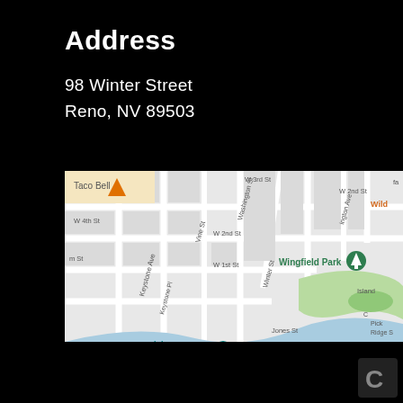Address
98 Winter Street
Reno, NV 89503
[Figure (map): Google Maps screenshot showing the area around 98 Winter Street, Reno, NV 89503. Visible streets include Keystone Ave, Keystone Pl, Vine St, W 2nd St, W 1st St, W 3rd St, Washington St, Winter St, Jones St, Riverside Dr. Landmarks visible include Taco Bell, Wingfield Park, McKinley Arts & Culture Center, Nevada Museum of (Art), and Island. A river (Truckee River) runs through the map diagonally.]